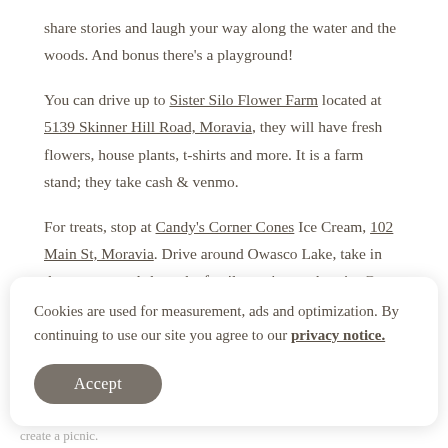share stories and laugh your way along the water and the woods. And bonus there's a playground!
You can drive up to Sister Silo Flower Farm located at 5139 Skinner Hill Road, Moravia, they will have fresh flowers, house plants, t-shirts and more. It is a farm stand; they take cash & venmo.
For treats, stop at Candy's Corner Cones Ice Cream, 102 Main St, Moravia. Drive around Owasco Lake, take in the scenery and share the family stories on the trip. Go to Emerson
Cookies are used for measurement, ads and optimization. By continuing to use our site you agree to our privacy notice.
create a picnic.